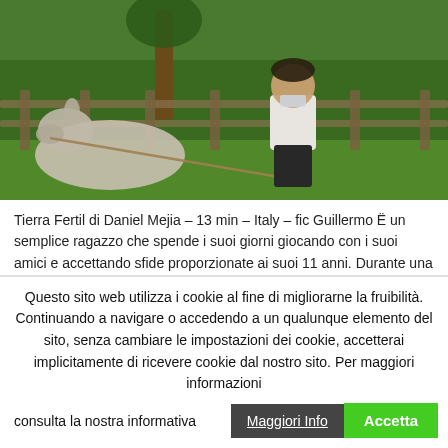[Figure (photo): A boy in a white shirt and dark pants holds a rope near a donkey or cattle animal in a green outdoor rural setting with wooden fence and trees in the background.]
Tierra Fertil di Daniel Mejia – 13 min – Italy – fic Guillermo Ë un semplice ragazzo che spende i suoi giorni giocando con i suoi amici e accettando sfide proporzionate ai suoi 11 anni. Durante una di queste mission, inaspettatamente Guillermo trova un uomo che sta per morire nella foresta.
Questo sito web utilizza i cookie al fine di migliorarne la fruibilità. Continuando a navigare o accedendo a un qualunque elemento del sito, senza cambiare le impostazioni dei cookie, accetterai implicitamente di ricevere cookie dal nostro sito. Per maggiori informazioni consulta la nostra informativa